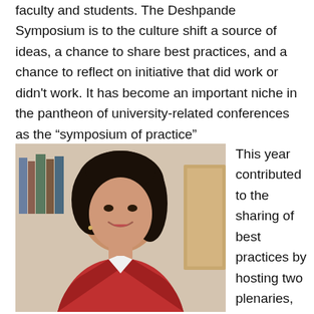faculty and students.  The Deshpande Symposium is to the culture shift a source of ideas, a chance to share best practices, and a chance to reflect on initiative that did work or didn't work.  It has become an important niche in the pantheon of university-related conferences as the “symposium of practice”
[Figure (photo): Professional headshot of a woman with dark hair wearing a red jacket, smiling, with bookshelves visible in the background.]
This year contributed to the sharing of best practices by hosting two plenaries, one on HBCUs